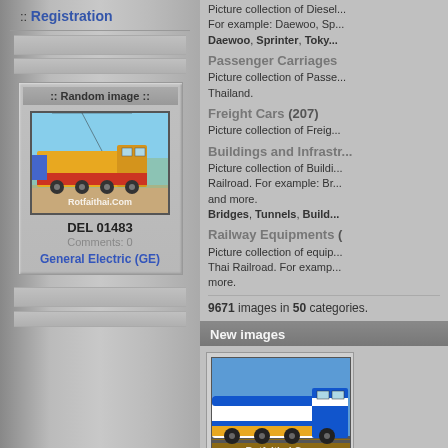:: Registration
:: Random image ::
[Figure (photo): Yellow and red diesel locomotive train on tracks, watermarked Rotfaithai.Com]
DEL 01483
Comments: 0
General Electric (GE)
Picture collection of Diesel... For example: Daewoo, Sp... Daewoo, Sprinter, Toky...
Passenger Carriages
Picture collection of Passe... Thailand.
Freight Cars (207)
Picture collection of Freig...
Buildings and Infrastr...
Picture collection of Buildi... Railroad. For example: Br... and more. Bridges, Tunnels, Build...
Railway Equipments (
Picture collection of equip... Thai Railroad. For examp... more.
9671 images in 50 categories.
New images
[Figure (photo): Blue and white diesel electric locomotive train, watermarked Rotfaithai.Com]
DEL 05827
Comments: 0
Other Diesel Electric Locomotives